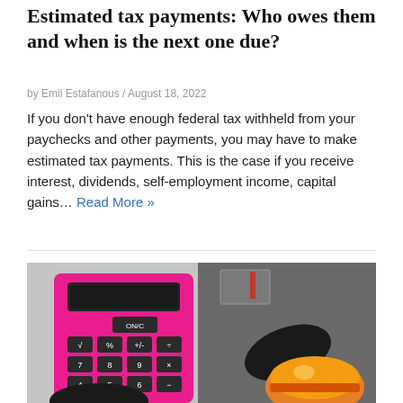Estimated tax payments: Who owes them and when is the next one due?
by Emil Estafanous / August 18, 2022
If you don't have enough federal tax withheld from your paychecks and other payments, you may have to make estimated tax payments. This is the case if you receive interest, dividends, self-employment income, capital gains… Read More »
[Figure (photo): Person in gray work jacket and black gloves holding a pink calculator with ON/C, math function buttons, and number keys; an orange hard hat is visible in the lower right.]